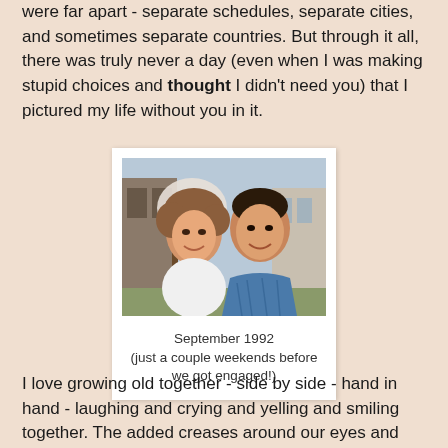were far apart - separate schedules, separate cities, and sometimes separate countries. But through it all, there was truly never a day (even when I was making stupid choices and thought I didn't need you) that I pictured my life without you in it.
[Figure (photo): A couple posing together outdoors, smiling, with a building and flowering tree in the background. Photo appears to be from the early 1990s.]
September 1992
(just a couple weekends before we got engaged!)
I love growing old together - side by side - hand in hand - laughing and crying and yelling and smiling together. The added creases around our eyes and smiles reminds me of all the fun and silliness and inside jokes we share. The grey in